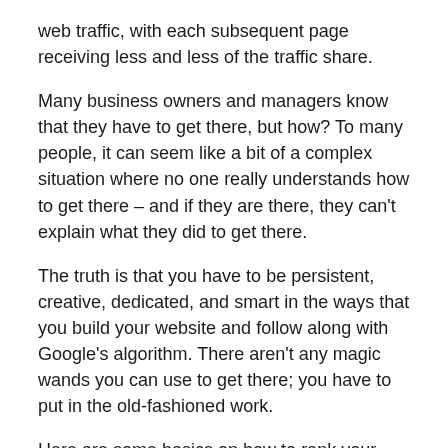web traffic, with each subsequent page receiving less and less of the traffic share.
Many business owners and managers know that they have to get there, but how? To many people, it can seem like a bit of a complex situation where no one really understands how to get there – and if they are there, they can't explain what they did to get there.
The truth is that you have to be persistent, creative, dedicated, and smart in the ways that you build your website and follow along with Google's algorithm. There aren't any magic wands you can use to get there; you have to put in the old-fashioned work.
Here are some basics on how to rank your website:
Know the Google Algorithm – Or At Least Research It